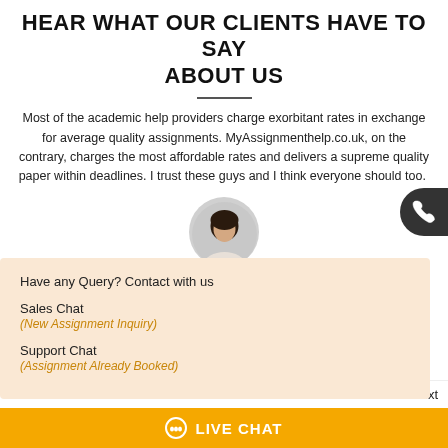HEAR WHAT OUR CLIENTS HAVE TO SAY ABOUT US
Most of the academic help providers charge exorbitant rates in exchange for average quality assignments. MyAssignmenthelp.co.uk, on the contrary, charges the most affordable rates and delivers a supreme quality paper within deadlines. I trust these guys and I think everyone should too.
[Figure (photo): Circular avatar photo of a woman with dark hair against a light grey background]
[Figure (infographic): Dark circular phone/call button on right edge of page]
Have any Query? Contact with us

Sales Chat
(New Assignment Inquiry)

Support Chat
(Assignment Already Booked)
Previous  Next
LIVE CHAT